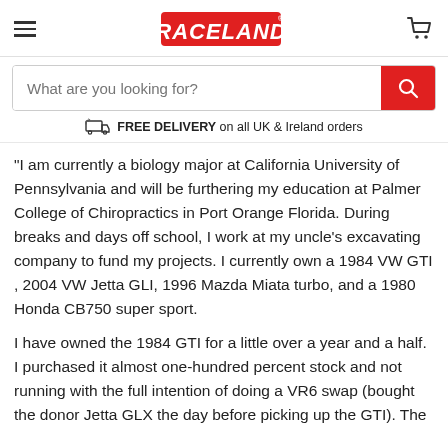RACELAND
What are you looking for?
FREE DELIVERY on all UK & Ireland orders
“I am currently a biology major at California University of Pennsylvania and will be furthering my education at Palmer College of Chiropractics in Port Orange Florida. During breaks and days off school, I work at my uncle's excavating company to fund my projects. I currently own a 1984 VW GTI , 2004 VW Jetta GLI, 1996 Mazda Miata turbo, and a 1980 Honda CB750 super sport.
I have owned the 1984 GTI for a little over a year and a half. I purchased it almost one-hundred percent stock and not running with the full intention of doing a VR6 swap (bought the donor Jetta GLX the day before picking up the GTI). The